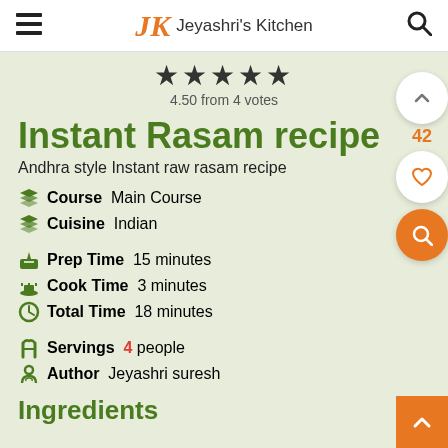JK Jeyashri's Kitchen
4.50 from 4 votes
Instant Rasam recipe
Andhra style Instant raw rasam recipe
Course  Main Course
Cuisine  Indian
Prep Time  15 minutes
Cook Time  3 minutes
Total Time  18 minutes
Servings  4 people
Author  Jeyashri suresh
Ingredients